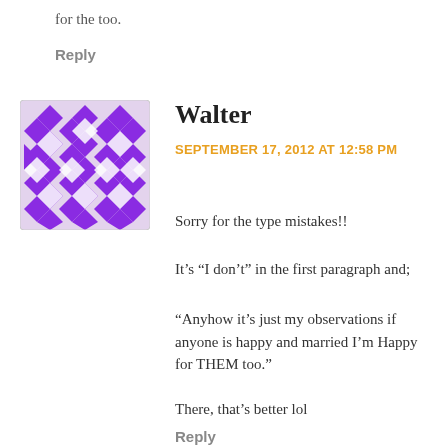for the too.
Reply
[Figure (illustration): Purple and white diamond/cross pattern avatar image for user Walter]
Walter
SEPTEMBER 17, 2012 AT 12:58 PM
Sorry for the type mistakes!!
It’s “I don’t” in the first paragraph and;
“Anyhow it’s just my observations if anyone is happy and married I’m Happy for THEM too.”
There, that’s better lol
Reply